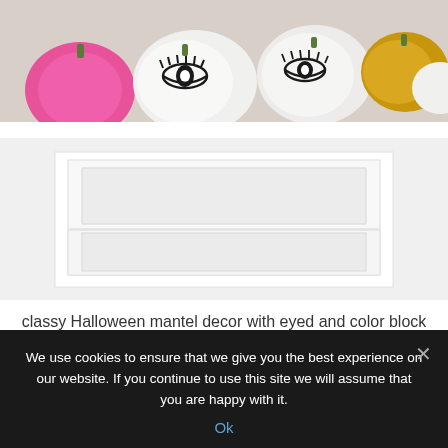[Figure (photo): Halloween mantel decor with eyed and color block pumpkins. Top portion shows pink, white with eye drawings, and gold pumpkins on a shelf. Bottom portion shows a white fireplace mantel with framed white panels.]
classy Halloween mantel decor with eyed and color block pumpkins is a timeless and chic minimalist idea
We use cookies to ensure that we give you the best experience on our website. If you continue to use this site we will assume that you are happy with it.
Ok